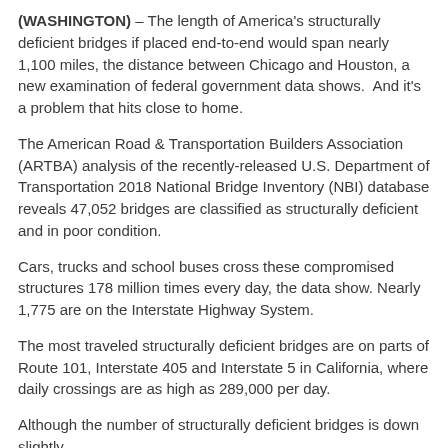(WASHINGTON) – The length of America's structurally deficient bridges if placed end-to-end would span nearly 1,100 miles, the distance between Chicago and Houston, a new examination of federal government data shows. And it's a problem that hits close to home.
The American Road & Transportation Builders Association (ARTBA) analysis of the recently-released U.S. Department of Transportation 2018 National Bridge Inventory (NBI) database reveals 47,052 bridges are classified as structurally deficient and in poor condition.
Cars, trucks and school buses cross these compromised structures 178 million times every day, the data show. Nearly 1,775 are on the Interstate Highway System.
The most traveled structurally deficient bridges are on parts of Route 101, Interstate 405 and Interstate 5 in California, where daily crossings are as high as 289,000 per day.
Although the number of structurally deficient bridges is down slightly